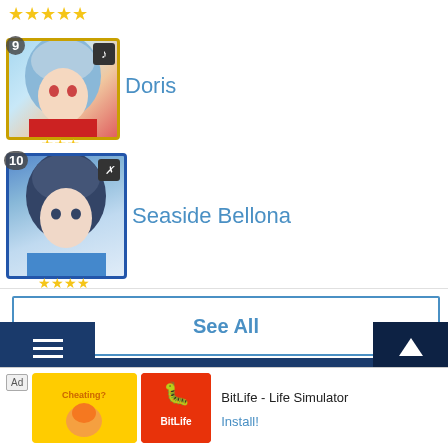[Figure (screenshot): Top partial row with gold stars rating]
9 Doris
10 Seaside Bellona
See All
[Figure (logo): GamePress logo with circular G icon and text 'GamePress' in white on dark blue background]
Menu
Top
Disclaimer   Privacy Policy   Terms of Use
[Figure (screenshot): Ad banner: BitLife - Life Simulator with Install button]